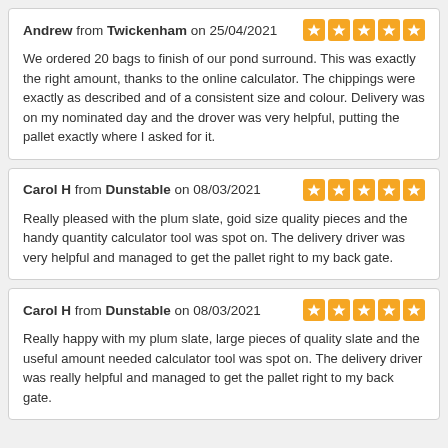Andrew from Twickenham on 25/04/2021 ★★★★★ We ordered 20 bags to finish of our pond surround. This was exactly the right amount, thanks to the online calculator. The chippings were exactly as described and of a consistent size and colour. Delivery was on my nominated day and the drover was very helpful, putting the pallet exactly where I asked for it.
Carol H from Dunstable on 08/03/2021 ★★★★★ Really pleased with the plum slate, goid size quality pieces and the handy quantity calculator tool was spot on. The delivery driver was very helpful and managed to get the pallet right to my back gate.
Carol H from Dunstable on 08/03/2021 ★★★★★ Really happy with my plum slate, large pieces of quality slate and the useful amount needed calculator tool was spot on. The delivery driver was really helpful and managed to get the pallet right to my back gate.